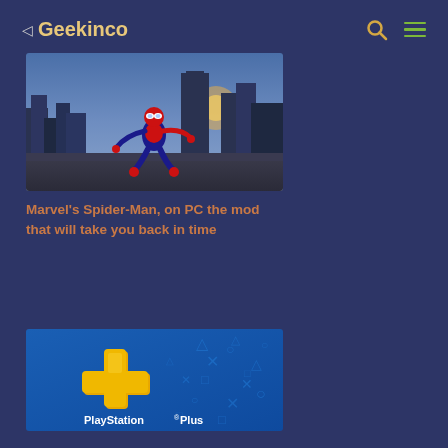Geekinco
[Figure (photo): Marvel's Spider-Man game screenshot showing Spider-Man crouching on a rooftop with a city skyline in the background at dusk]
Marvel's Spider-Man, on PC the mod that will take you back in time
[Figure (photo): PlayStation Plus logo with golden plus symbol on a blue background with PlayStation controller button symbols (X, O, triangle, square)]